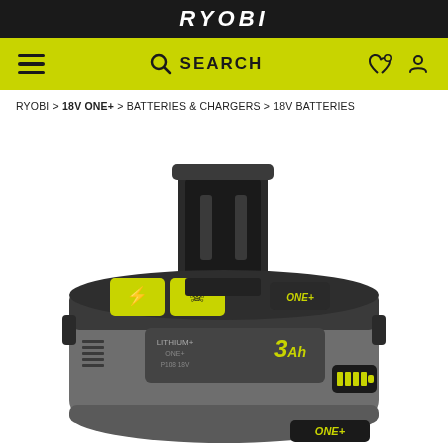RYOBI
SEARCH
RYOBI > 18V ONE+ > BATTERIES & CHARGERS > 18V BATTERIES
[Figure (photo): RYOBI 18V ONE+ 3Ah lithium-ion battery pack shown at an angle, with black and grey body, yellow-green ONE+ branding, charge indicator LEDs, and connector terminal on top. Warning labels visible on top face.]